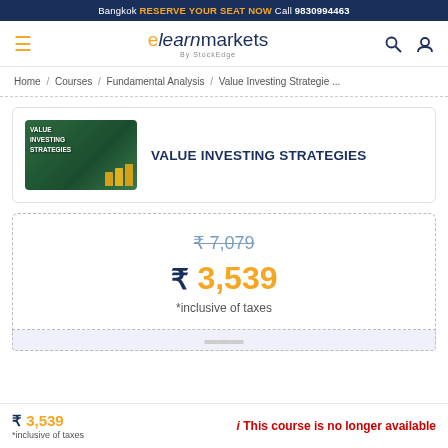Bangkok RESERVE YOUR SEAT NOW Call 9830994463
[Figure (logo): elearnmarkets by StockEdge logo with navigation icons]
Home / Courses / Fundamental Analysis / Value Investing Strategie ...
VALUE INVESTING STRATEGIES
₹ 7,079 (strikethrough original price)
₹ 3,539
*inclusive of taxes
₹ 3,539 *inclusive of taxes   i This course is no longer available